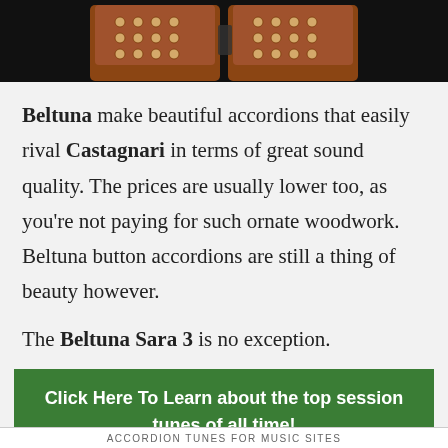[Figure (photo): Photo of a brown button accordion (concertina) against a black background, showing the wooden body and buttons, partially cropped at top]
Beltuna make beautiful accordions that easily rival Castagnari in terms of great sound quality. The prices are usually lower too, as you’re not paying for such ornate woodwork. Beltuna button accordions are still a thing of beauty however.
The Beltuna Sara 3 is no exception.
Click Here To Learn about the top session tunes of all time!